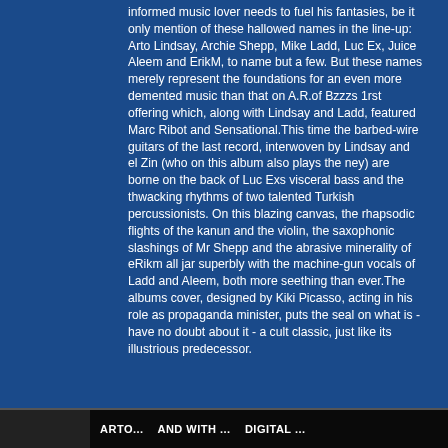informed music lover needs to fuel his fantasies, be it only mention of these hallowed names in the line-up: Arto Lindsay, Archie Shepp, Mike Ladd, Luc Ex, Juice Aleem and ErikM, to name but a few. But these names merely represent the foundations for an even more demented music than that on A.R.of Bzzzs 1rst offering which, along with Lindsay and Ladd, featured Marc Ribot and Sensational.This time the barbed-wire guitars of the last record, interwoven by Lindsay and el Zin (who on this album also plays the ney) are borne on the back of Luc Exs visceral bass and the thwacking rhythms of two talented Turkish percussionists. On this blazing canvas, the rhapsodic flights of the kanun and the violin, the saxophonic slashings of Mr Shepp and the abrasive minerality of eRikm all jar superbly with the machine-gun vocals of Ladd and Aleem, both more seething than ever.The albums cover, designed by Kiki Picasso, acting in his role as propaganda minister, puts the seal on what is - have no doubt about it - a cult classic, just like its illustrious predecessor.
ARTO... AND WITH ... DIGITAL ...